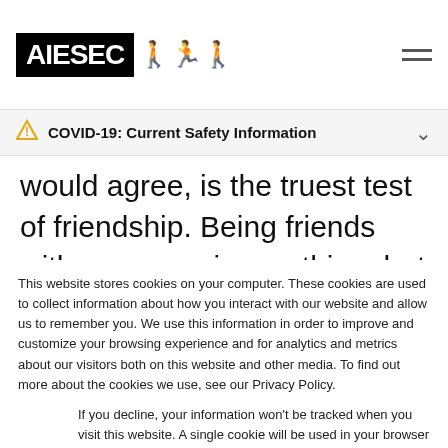AIESEC [logo with people silhouettes] [hamburger menu]
⚠ COVID-19: Current Safety Information
would agree, is the truest test of friendship. Being friends with someone is one thing, but traveling with them? As f...
This website stores cookies on your computer. These cookies are used to collect information about how you interact with our website and allow us to remember you. We use this information in order to improve and customize your browsing experience and for analytics and metrics about our visitors both on this website and other media. To find out more about the cookies we use, see our Privacy Policy.
If you decline, your information won't be tracked when you visit this website. A single cookie will be used in your browser to remember your preference not to be tracked.
Accept  Decline